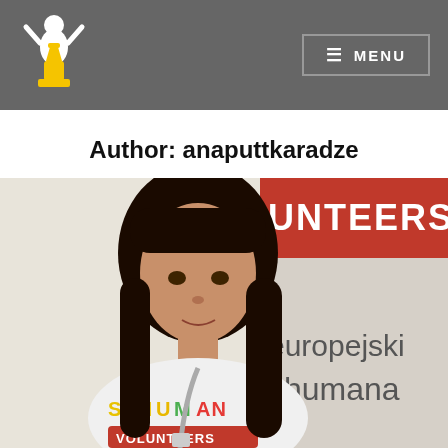[Figure (logo): Schuman Volunteers logo: white figure with raised arms wearing a yellow outfit, on a dark gray background]
≡ MENU
Author: anaputtkaradze
[Figure (photo): Young woman with dark hair and bangs wearing a white Schuman Volunteers sweatshirt, standing in front of a banner with text including 'UNTEERS', 'europejski', 'chumana']